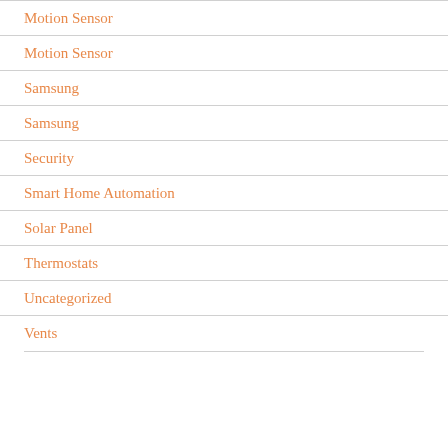Motion Sensor
Motion Sensor
Samsung
Samsung
Security
Smart Home Automation
Solar Panel
Thermostats
Uncategorized
Vents